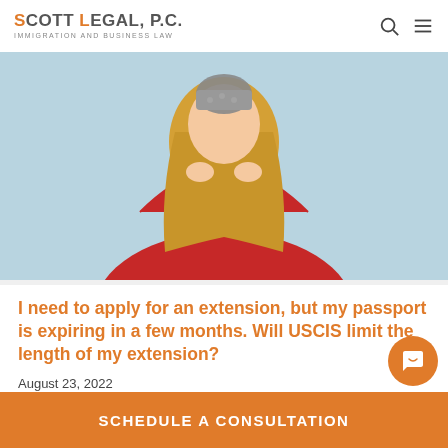SCOTT LEGAL, P.C. IMMIGRATION AND BUSINESS LAW
[Figure (photo): Woman in red sweater holding a passport or small book, with long wavy blonde hair, against a light blue background]
I need to apply for an extension, but my passport is expiring in a few months. Will USCIS limit the length of my extension?
August 23, 2022
SCHEDULE A CONSULTATION